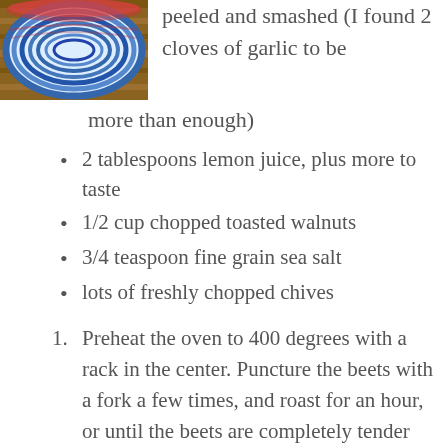[Figure (photo): Photo of a colorful blue and red patterned bowl or dish on wooden sticks/surface]
peeled and smashed (I found 2 cloves of garlic to be more than enough)
2 tablespoons lemon juice, plus more to taste
1/2 cup chopped toasted walnuts
3/4 teaspoon fine grain sea salt
lots of freshly chopped chives
Preheat the oven to 400 degrees with a rack in the center. Puncture the beets with a fork a few times, and roast for an hour, or until the beets are completely tender when you test by cutting into the center with a knife.